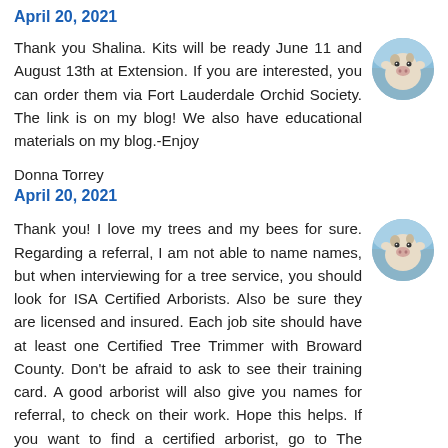April 20, 2021
Thank you Shalina. Kits will be ready June 11 and August 13th at Extension. If you are interested, you can order them via Fort Lauderdale Orchid Society. The link is on my blog! We also have educational materials on my blog.-Enjoy
[Figure (photo): Circular avatar photo of a cow against a blue sky background]
Donna Torrey
April 20, 2021
Thank you! I love my trees and my bees for sure. Regarding a referral, I am not able to name names, but when interviewing for a tree service, you should look for ISA Certified Arborists. Also be sure they are licensed and insured. Each job site should have at least one Certified Tree Trimmer with Broward County. Don't be afraid to ask to see their training card. A good arborist will also give you names for referral, to check on their work. Hope this helps. If you want to find a certified arborist, go to The International Society for Arboriculture
[Figure (photo): Circular avatar photo of a cow against a blue sky background]